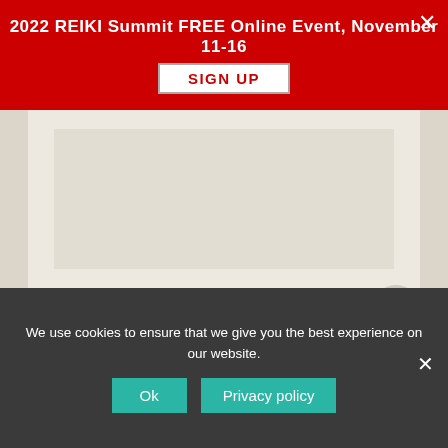2022 REIKI Summit FREE Online Event, November 11-16
[Figure (screenshot): Red banner with event announcement, SIGN UP button, and close X button]
[Figure (photo): Beige/cream colored rectangular image placeholder in a light tan panel]
Reiki Projects
We use cookies to ensure that we give you the best experience on our website.
Ok   Privacy policy